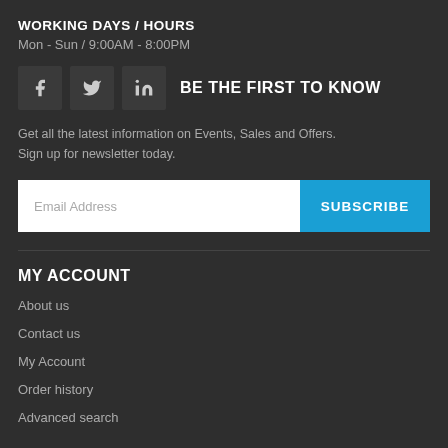WORKING DAYS / HOURS
Mon - Sun / 9:00AM - 8:00PM
[Figure (other): Social media icons: Facebook, Twitter, LinkedIn]
BE THE FIRST TO KNOW
Get all the latest information on Events, Sales and Offers. Sign up for newsletter today.
[Figure (other): Email subscription input with SUBSCRIBE button]
MY ACCOUNT
About us
Contact us
My Account
Order history
Advanced search